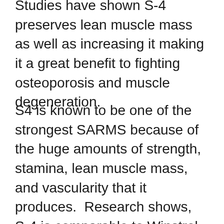Studies have shown S-4 preserves lean muscle mass as well as increasing it making it a great benefit to fighting osteoporosis and muscle degeneration.
S4 is known to be one of the strongest SARMS because of the huge amounts of strength, stamina, lean muscle mass, and vascularity that it produces. Research shows, S-4 is comparable to Winstrol but has been shown to provide better muscle gains and has very little side effects on joints. Research also shows there is no estrogen